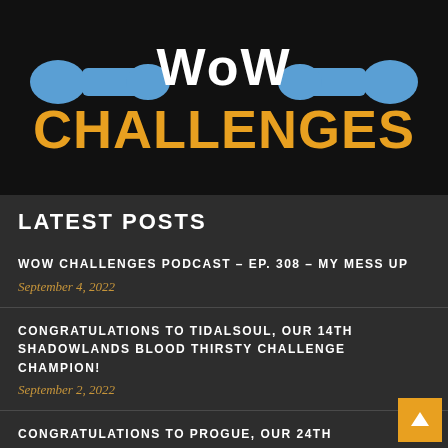[Figure (logo): WoW Challenges logo with blue bone graphics and orange 'CHALLENGES' text on black background]
LATEST POSTS
WOW CHALLENGES PODCAST – EP. 308 – MY MESS UP
September 4, 2022
CONGRATULATIONS TO TIDALSOUL, OUR 14TH SHADOWLANDS BLOOD THIRSTY CHALLENGE CHAMPION!
September 2, 2022
CONGRATULATIONS TO PROGUE, OUR 24TH SHADOWLANDS PACIFIST CHALLENGE CHAMPION!
August 28, 2022